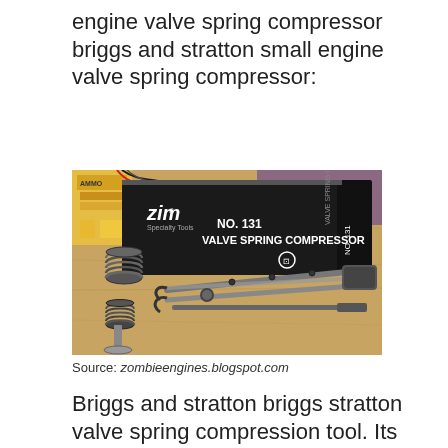engine valve spring compressor briggs and stratton small engine valve spring compressor:
[Figure (photo): Photo of a ZIM Specialty Tools No. 131 Valve Spring Compressor tool in its black box, alongside two coil springs, a valve, and the metal compressor tool laid on a wooden workbench surface.]
Source: zombieengines.blogspot.com
Briggs and stratton briggs stratton valve spring compression tool. Its just a small engine valve spring compressor.it does what